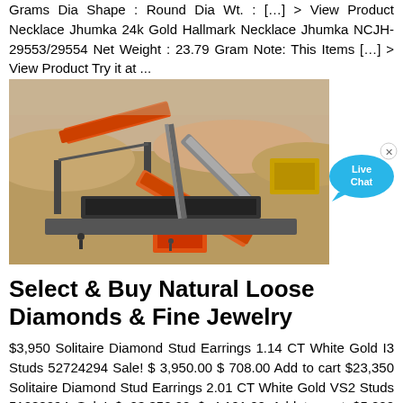Grams Dia Shape : Round Dia Wt. : [...] > View Product Necklace Jhumka 24k Gold Hallmark Necklace Jhumka NCJH-29553/29554 Net Weight : 23.79 Gram Note: This Items [...] > View Product Try it at ...
[Figure (photo): Aerial/overhead view of a mining or quarry site with orange industrial conveyor belts and heavy machinery processing stone/gravel material]
Select & Buy Natural Loose Diamonds & Fine Jewelry
$3,950 Solitaire Diamond Stud Earrings 1.14 CT White Gold I3 Studs 52724294 Sale! $ 3,950.00 $ 708.00 Add to cart $23,350 Solitaire Diamond Stud Earrings 2.01 CT White Gold VS2 Studs 51288294 Sale! $ 23,350.00 $ 4,191.00 Add to cart $5,200 Solitaire